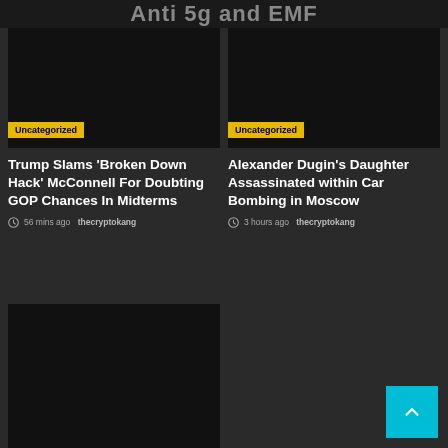Anti 5g and EMF
[Figure (photo): Dark image placeholder for article 1]
Uncategorized
Trump Slams ‘Broken Down Hack’ McConnell For Doubting GOP Chances In Midterms
56 mins ago  thecryptokang
[Figure (photo): Dark image placeholder for article 2]
Uncategorized
Alexander Dugin’s Daughter Assassinated within Car Bombing in Moscow
3 hours ago  thecryptokang
[Figure (photo): Dark image placeholder for article 3 (bottom left)]